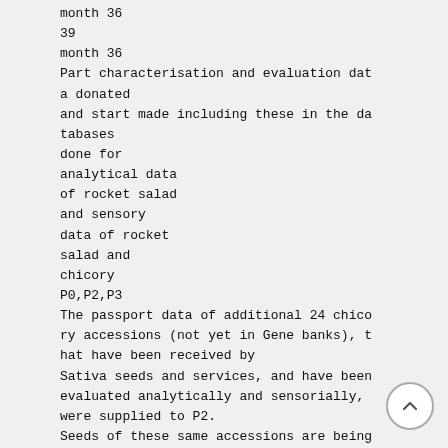month 36
39
month 36
Part characterisation and evaluation data donated
and start made including these in the databases
done for
analytical data
of rocket salad
and sensory
data of rocket
salad and
chicory
P0,P2,P3
The passport data of additional 24 chicory accessions (not yet in Gene banks), that have been received by
Sativa seeds and services, and have been evaluated analytically and sensorially, were supplied to P2.
Seeds of these same accessions are being collected and will be supplied to P2 as well.
Workpackage 3: Evaluation